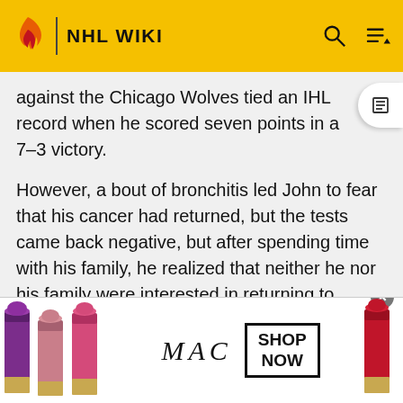NHL WIKI
against the Chicago Wolves tied an IHL record when he scored seven points in a 7–3 victory.
However, a bout of bronchitis led John to fear that his cancer had returned, but the tests came back negative, but after spending time with his family, he realized that neither he nor his family were interested in returning to Cleveland.
On November 28, 1998, John announced his retirement and accepted the Lightning offer to become an assistant coach.
[Figure (photo): MAC cosmetics advertisement banner with lipsticks, MAC logo, and SHOP NOW button]